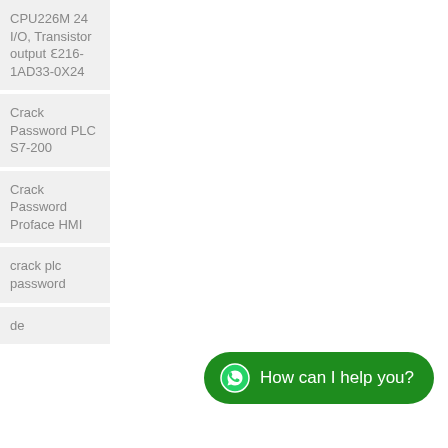CPU226M 24 I/O, Transistor output ℇ216-1AD33-0X24
Crack Password PLC S7-200
Crack Password Proface HMI
crack plc password
de
[Figure (other): WhatsApp chat button with text 'How can I help you?' in green rounded button with WhatsApp icon]